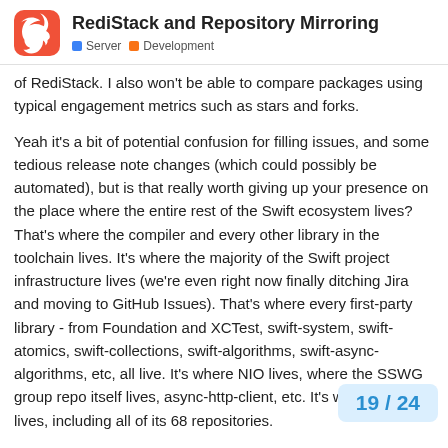RediStack and Repository Mirroring — Server | Development
of RediStack. I also won't be able to compare packages using typical engagement metrics such as stars and forks.
Yeah it's a bit of potential confusion for filling issues, and some tedious release note changes (which could possibly be automated), but is that really worth giving up your presence on the place where the entire rest of the Swift ecosystem lives? That's where the compiler and every other library in the toolchain lives. It's where the majority of the Swift project infrastructure lives (we're even right now finally ditching Jira and moving to GitHub Issues). That's where every first-party library - from Foundation and XCTest, swift-system, swift-atomics, swift-collections, swift-algorithms, swift-async-algorithms, etc, all live. It's where NIO lives, where the SSWG group repo itself lives, async-http-client, etc. It's where Vapor lives, including all of its 68 repositories.
I'd advise caution. People rely on GitHub m admit, and the whole idea of having a glob
19 / 24